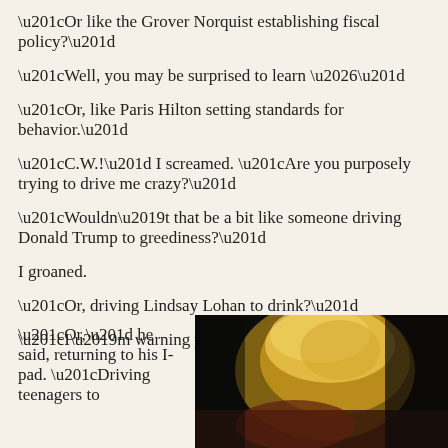“Or like the Grover Norquist establishing fiscal policy?”
“Well, you may be surprised to learn …”
“Or, like Paris Hilton setting standards for behavior.”
“C.W.!” I screamed. “Are you purposely trying to drive me crazy?”
“Wouldn’t that be a bit like someone driving Donald Trump to greediness?”
I groaned.
“Or, driving Lindsay Lohan to drink?”
“I’m warning you …”
“Or,” he said, returning to his I-pad. “Driving teenagers to
[Figure (photo): Partial photo of a person with blonde hair against a dark background]